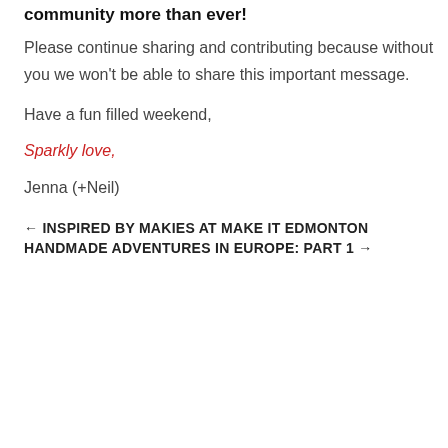community more than ever!
Please continue sharing and contributing because without you we won't be able to share this important message.
Have a fun filled weekend,
Sparkly love,
Jenna (+Neil)
← INSPIRED BY MAKIES AT MAKE IT EDMONTON
HANDMADE ADVENTURES IN EUROPE: PART 1 →